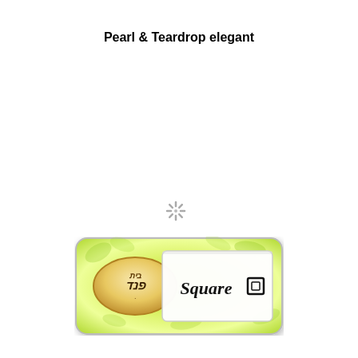Pearl & Teardrop elegant
[Figure (other): Loading spinner icon (sun/asterisk style, gray)]
[Figure (other): Green leaf-themed badge with oval logo and white panel showing 'Square' with a square icon]